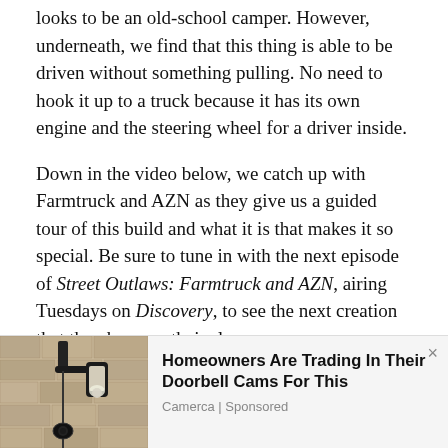looks to be an old-school camper. However, underneath, we find that this thing is able to be driven without something pulling. No need to hook it up to a truck because it has its own engine and the steering wheel for a driver inside.
Down in the video below, we catch up with Farmtruck and AZN as they give us a guided tour of this build and what it is that makes it so special. Be sure to tune in with the next episode of Street Outlaws: Farmtruck and AZN, airing Tuesdays on Discovery, to see the next creation that they have up their sleeve.
[Figure (photo): Advertisement image showing a wall-mounted outdoor light fixture or security camera on a stone/brick wall]
Homeowners Are Trading In Their Doorbell Cams For This
Camerca | Sponsored